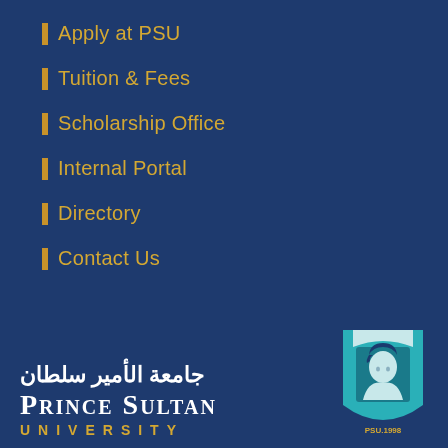Apply at PSU
Tuition & Fees
Scholarship Office
Internal Portal
Directory
Contact Us
[Figure (logo): Prince Sultan University logo with Arabic text 'جامعة الأمير سلطان', English text 'PRINCE SULTAN UNIVERSITY', and a shield-shaped emblem featuring a portrait, established 1998]
جامعة الأمير سلطان
PRINCE SULTAN
UNIVERSITY